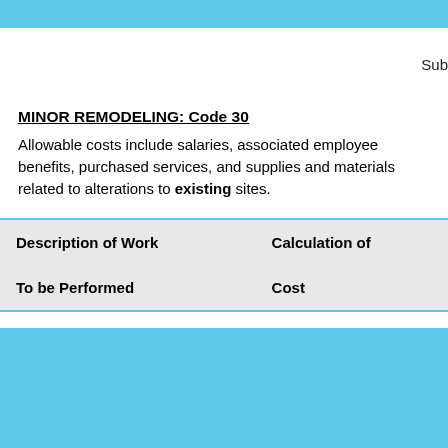Sub
MINOR REMODELING: Code 30
Allowable costs include salaries, associated employee benefits, purchased services, and supplies and materials related to alterations to existing sites.
| Description of Work
To be Performed | Calculation of
Cost |
| --- | --- |